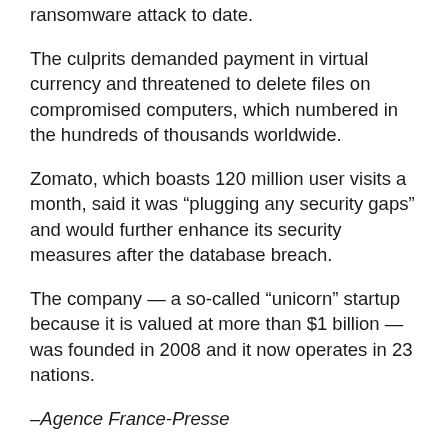ransomware attack to date.
The culprits demanded payment in virtual currency and threatened to delete files on compromised computers, which numbered in the hundreds of thousands worldwide.
Zomato, which boasts 120 million user visits a month, said it was “plugging any security gaps” and would further enhance its security measures after the database breach.
The company — a so-called “unicorn” startup because it is valued at more than $1 billion — was founded in 2008 and it now operates in 23 nations.
–Agence France-Presse